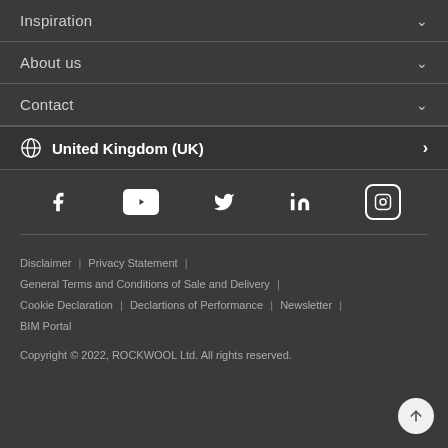Inspiration ∨
About us ∨
Contact ∨
🌐 United Kingdom (UK) >
[Figure (other): Social media icons: Facebook, YouTube, Twitter, LinkedIn, Instagram]
Disclaimer  |  Privacy Statement  |  General Terms and Conditions of Sale and Delivery  |  Cookie Declaration  |  Declartions of Performance  |  Newsletter  |  BIM Portal
Copyright © 2022, ROCKWOOL Ltd. All rights reserved.